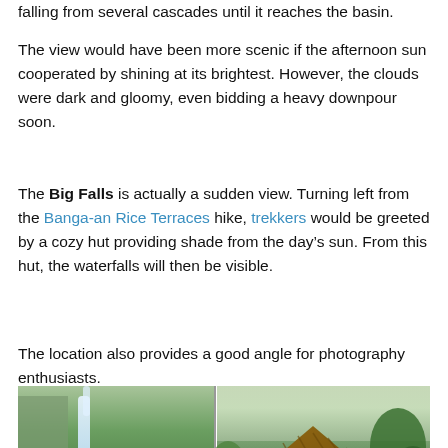falling from several cascades until it reaches the basin.
The view would have been more scenic if the afternoon sun cooperated by shining at its brightest. However, the clouds were dark and gloomy, even bidding a heavy downpour soon.
The Big Falls is actually a sudden view. Turning left from the Banga-an Rice Terraces hike, trekkers would be greeted by a cozy hut providing shade from the day’s sun. From this hut, the waterfalls will then be visible.
The location also provides a good angle for photography enthusiasts.
[Figure (photo): Two side-by-side photos: left shows a waterfall with green vegetation and rocks at the base; right shows a thatched hut with a person standing under it surrounded by lush greenery. Copyright watermark: © LetsGoSago.net]
Nearby Hut
The Bomod-ok Falls is surrounded by nearby boulders and boulders